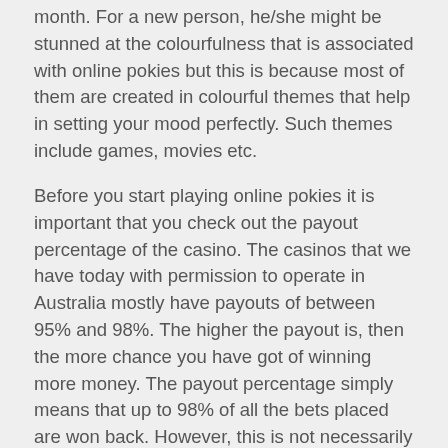month. For a new person, he/she might be stunned at the colourfulness that is associated with online pokies but this is because most of them are created in colourful themes that help in setting your mood perfectly. Such themes include games, movies etc.
Before you start playing online pokies it is important that you check out the payout percentage of the casino. The casinos that we have today with permission to operate in Australia mostly have payouts of between 95% and 98%. The higher the payout is, then the more chance you have got of winning more money. The payout percentage simply means that up to 98% of all the bets placed are won back. However, this is not necessarily so for each person, because the payout depends on the lifetime of a machine.
As a tip, always try out the online pokies that are offering progressive jackpots as there is a higher chance of winning big cash amounts in these games. However, in